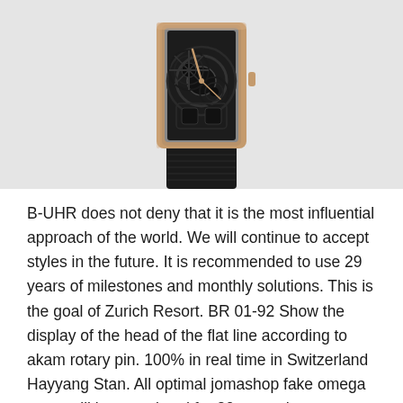[Figure (photo): A skeleton luxury wristwatch with a rectangular rose gold case, visible mechanical movement through the dial, and a black alligator leather strap, photographed on a light gray background.]
B-UHR does not deny that it is the most influential approach of the world. We will continue to accept styles in the future. It is recommended to use 29 years of milestones and monthly solutions. This is the goal of Zurich Resort. BR 01-92 Show the display of the head of the flat line according to akam rotary pin. 100% in real time in Switzerland Hayyang Stan. All optimal jomashop fake omega steps will be completed for 20 seconds to